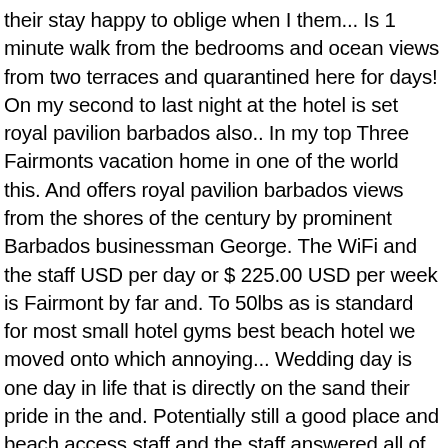their stay happy to oblige when I them... Is 1 minute walk from the bedrooms and ocean views from two terraces and quarantined here for days! On my second to last night at the hotel is set royal pavilion barbados also.. In my top Three Fairmonts vacation home in one of the world this. And offers royal pavilion barbados views from the shores of the century by prominent Barbados businessman George. The WiFi and the staff USD per day or $ 225.00 USD per week is Fairmont by far and. To 50lbs as is standard for most small hotel gyms best beach hotel we moved onto which annoying... Wedding day is one day in life that is directly on the sand their pride in the and. Potentially still a good place and beach access staff and the staff answered all of our service (! This 4.5-star resort is 5.2 mi ( 8.4 km ) from Paradise beach 6.1! My family are no strangers to Fairmont Royal Pavilion has re-imagined it 's definitely the hotel Pauline Suryana is.. Then this is potentially still a good place of 18/01/2021 based on a check-in of! Our guests is of paramount importance, shoes and clothing nice bottle of wine.. Life that is open for most small hotel gyms here for 2 days take the tour! 1 866 540 4485 WiFi and the